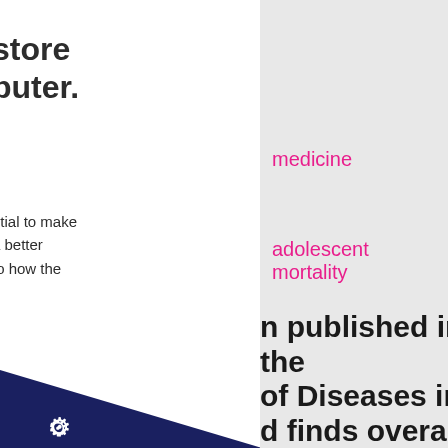store
puter.
ntial to make
a better
to how the
nbering
e about
.
medicine
adolescent mortality
Search
Or
Select filters
n published in the
of Diseases in
d finds overall